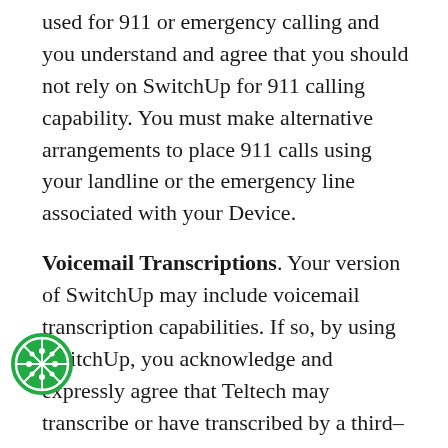used for 911 or emergency calling and you understand and agree that you should not rely on SwitchUp for 911 calling capability. You must make alternative arrangements to place 911 calls using your landline or the emergency line associated with your Device.
Voicemail Transcriptions. Your version of SwitchUp may include voicemail transcription capabilities. If so, by using SwitchUp, you acknowledge and expressly agree that Teltech may transcribe or have transcribed by a third-party vendor and store or have stored by a third-party vendor, voicemail messages and to make such transcriptions available to you.
Call Data Retention. We make no guarantees that